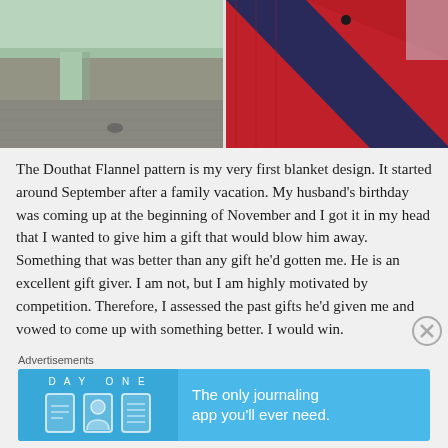[Figure (photo): Two-panel photo: left shows corner of a light green painted table on carpet; right shows a red and navy crocheted blanket draped over furniture]
The Douthat Flannel pattern is my very first blanket design. It started around September after a family vacation. My husband’s birthday was coming up at the beginning of November and I got it in my head that I wanted to give him a gift that would blow him away. Something that was better than any gift he’d gotten me. He is an excellent gift giver. I am not, but I am highly motivated by competition. Therefore, I assessed the past gifts he’d given me and vowed to come up with something better. I would win.
Advertisements
[Figure (screenshot): Day One journaling app advertisement banner: 'The only journaling app you’ll ever need.']